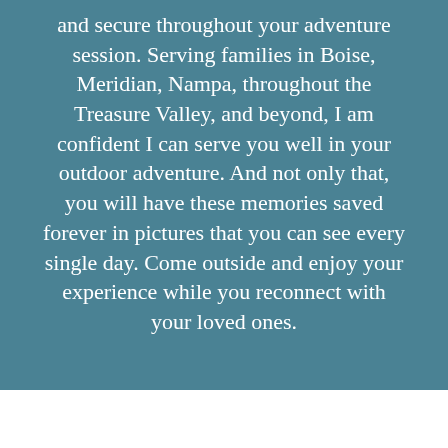and secure throughout your adventure session. Serving families in Boise, Meridian, Nampa, throughout the Treasure Valley, and beyond, I am confident I can serve you well in your outdoor adventure. And not only that, you will have these memories saved forever in pictures that you can see every single day. Come outside and enjoy your experience while you reconnect with your loved ones.